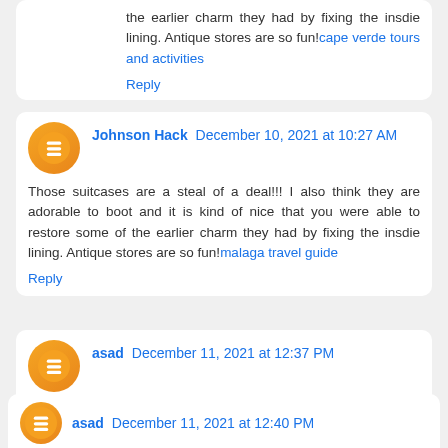the earlier charm they had by fixing the insdie lining. Antique stores are so fun! cape verde tours and activities
Reply
Johnson Hack  December 10, 2021 at 10:27 AM
Those suitcases are a steal of a deal!!! I also think they are adorable to boot and it is kind of nice that you were able to restore some of the earlier charm they had by fixing the insdie lining. Antique stores are so fun! malaga travel guide
Reply
asad  December 11, 2021 at 12:37 PM
Spot on with this write-up, I absolutely believe this site needs a lot more attention. I'll probably be back again to read through more, thanks for the information! travel prague
Reply
asad  December 11, 2021 at 12:40 PM